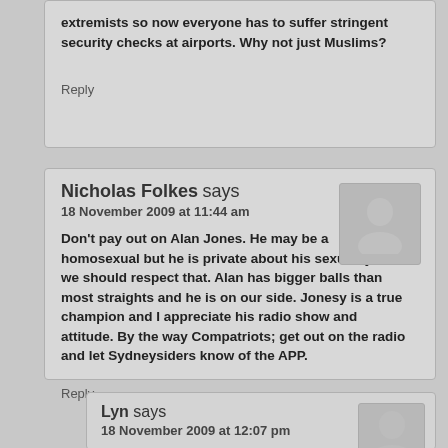extremists so now everyone has to suffer stringent security checks at airports. Why not just Muslims?
Reply
Nicholas Folkes says
18 November 2009 at 11:44 am
Don't pay out on Alan Jones. He may be a homosexual but he is private about his sexuality and we should respect that. Alan has bigger balls than most straights and he is on our side. Jonesy is a true champion and I appreciate his radio show and attitude. By the way Compatriots; get out on the radio and let Sydneysiders know of the APP.
Reply
Lyn says
18 November 2009 at 12:07 pm